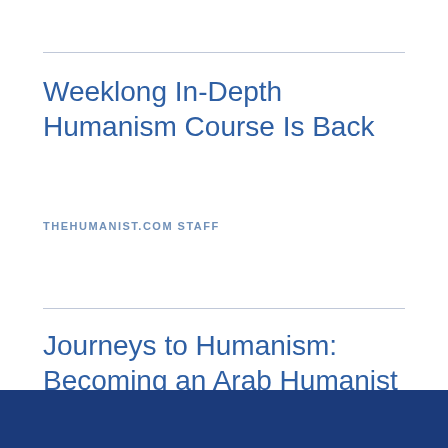Weeklong In-Depth Humanism Course Is Back
THEHUMANIST.COM STAFF
Journeys to Humanism: Becoming an Arab Humanist
JOURNEYS TO HUMANISM: BECOMING AN ARAB HUMANIST